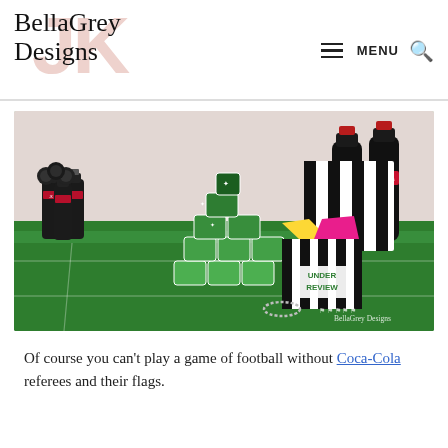BellaGrey Designs — MENU
[Figure (photo): Football party table setup on artificial green grass turf with Coca-Cola bottles, stacked green cups, and a black-and-white striped referee-themed bucket labeled 'Under Review' with yellow and pink paper items. Black toy football helmets visible on left. Branded with BellaGrey Designs watermark.]
Of course you can't play a game of football without Coca-Cola referees and their flags.